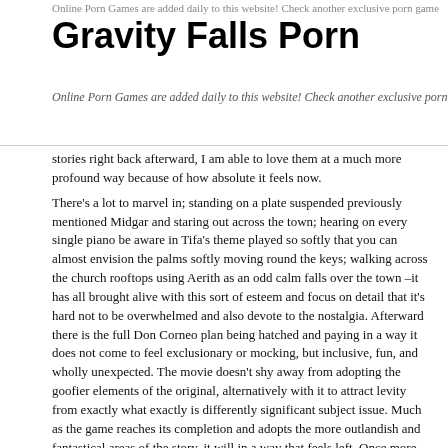Online Porn Games are added daily to this website! Check another exclusive porn game
Gravity Falls Porn
Online Porn Games are added daily to this website! Check another exclusive porn game
stories right back afterward, I am able to love them at a much more profound way because of how absolute it feels now.
There’s a lot to marvel in; standing on a plate suspended previously mentioned Midgar and staring out across the town; hearing on every single piano be aware in Tifa’s theme played so softly that you can almost envision the palms softly moving round the keys; walking across the church rooftops using Aerith as an odd calm falls over the town –it has all brought alive with this sort of esteem and focus on detail that it’s hard not to be overwhelmed and also devote to the nostalgia. Afterward there is the full Don Corneo plan being hatched and paying in a way it does not come to feel exclusionary or mocking, but inclusive, fun, and wholly unexpected. The movie doesn’t shy away from adopting the goofier elements of the original, alternatively with it to attract levity from exactly what exactly is differently significant subject issue. Much as the game reaches its completion and adopts the more outlandish and fantastical areas of the story, it will in a way that feels left. Once more, this may be only a tiny chunk of this original launch, however being a standalone game sex overwatch is complete. Even though a increased villain lingers at the periphery of the story, along with mysterious references to something much more in Cloud’s past–and additional unexplained factors –are introduced at the finishing chapters, that doesn’t diminish the story that is informed. sex overwatch can be appreciated to the virtues of exactly what it presents, and for those in the know, additionally, it lays the basis for upcoming revelations in a fascinating method.
No matter your history with all the game that is original, sex overwatch will be definitely an astonishing achievement. The watch for the release was an extended one, however in drama, story, characters, along with music, it produces –that the wait wasn’t worth every penny. For first-time gamers, it’s the chance to understand just why sex overwatch is stored in such high regard. It’s the occasion to experience a multi faceted tale that grapples with complicated issue material, maintain the organization of unforgettable personalities